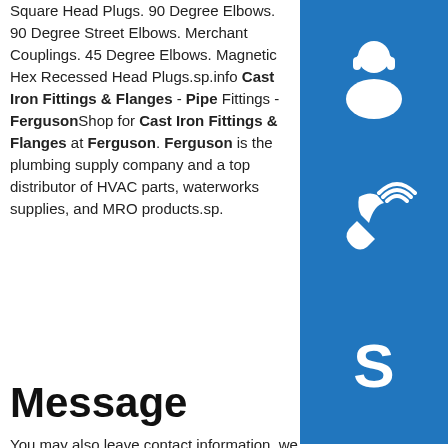Square Head Plugs. 90 Degree Elbows. 90 Degree Street Elbows. Merchant Couplings. 45 Degree Elbows. Magnetic Hex Recessed Head Plugs.sp.info Cast Iron Fittings & Flanges - Pipe Fittings - FergusonShop for Cast Iron Fittings & Flanges at Ferguson. Ferguson is the plumbing supply company and a top distributor of HVAC parts, waterworks supplies, and MRO products.sp.
[Figure (illustration): Blue square icon with white headset/customer support symbol]
[Figure (illustration): Blue square icon with white phone/call symbol]
[Figure (illustration): Blue square icon with white Skype logo symbol]
Message
You may also leave contact information, we will contact you as soon as possible!
Name
E-Mail
Messages